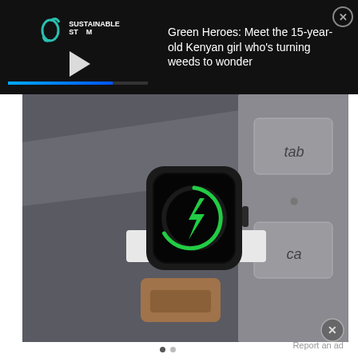[Figure (screenshot): Advertisement banner with black background. Left side shows 'Sustainable Stream' logo with a play button and a progress bar. Right side shows text: 'Green Heroes: Meet the 15-year-old Kenyan girl who's turning weeds to wonder' in white text. An X close button appears in the top right corner.]
[Figure (photo): Close-up photo of an Apple Watch being charged wirelessly on a USB dongle charger. The watch screen shows a green circular charging animation with a lightning bolt symbol. A laptop keyboard is visible in the background with keys including 'tab' and 'cap'. The surface is dark gray/charcoal.]
Report an ad